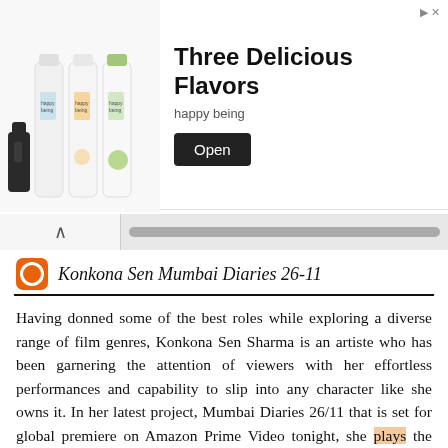[Figure (infographic): Advertisement banner for 'happy being' drink brand showing three milk/juice bottles and text 'Three Delicious Flavors' with an 'Open' button]
Konkona Sen Mumbai Diaries 26-11
Having donned some of the best roles while exploring a diverse range of film genres, Konkona Sen Sharma is an artiste who has been garnering the attention of viewers with her effortless performances and capability to slip into any character like she owns it. In her latest project, Mumbai Diaries 26/11 that is set for global premiere on Amazon Prime Video tonight, she plays the character of Chitra, who is a social service director at Bombay General Hospital. Interestingly, Konkona was offered to choose between two characters for this series. The first one was that of Chitra Das and the second, Ananya Ghosh, wife of Mohit Raina's